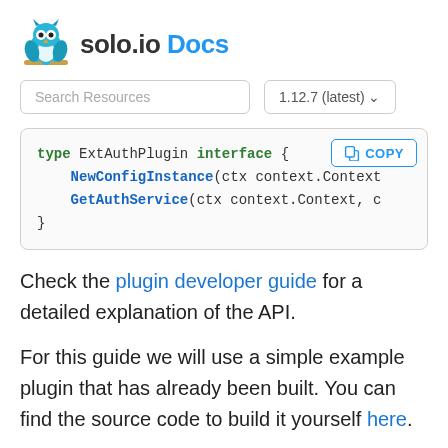solo.io Docs
[Figure (logo): solo.io Docs logo with owl icon]
Search Resources | 1.12.7 (latest)
[Figure (screenshot): Code block showing Go interface: type ExtAuthPlugin interface { NewConfigInstance(ctx context.Context, ... GetAuthService(ctx context.Context, ... } with a COPY button]
Check the plugin developer guide for a detailed explanation of the API.
For this guide we will use a simple example plugin that has already been built. You can find the source code to build it yourself here.